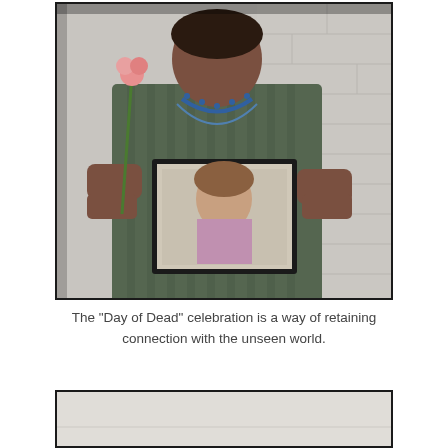[Figure (photo): A person holding a framed photograph of a woman, also holding a flower, standing against a white brick wall. The person is wearing a green striped shirt and blue beaded necklace.]
The "Day of Dead" celebration is a way of retaining connection with the unseen world.
[Figure (photo): A young girl with Day of the Dead face paint (sugar skull makeup with teal flower over one eye, red lips, and decorations) holding a framed photograph, wearing a white dress with blue trim, standing against a white brick wall.]